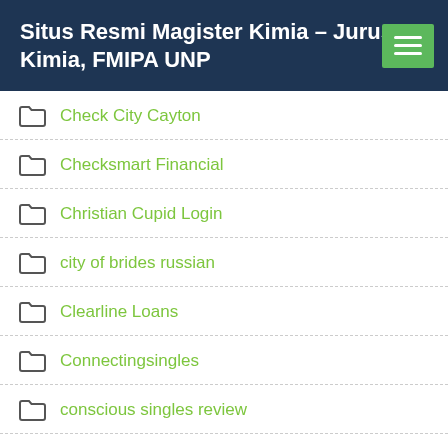Situs Resmi Magister Kimia – Jurusan Kimia, FMIPA UNP
Check City Cayton
Checksmart Financial
Christian Cupid Login
city of brides russian
Clearline Loans
Connectingsingles
conscious singles review